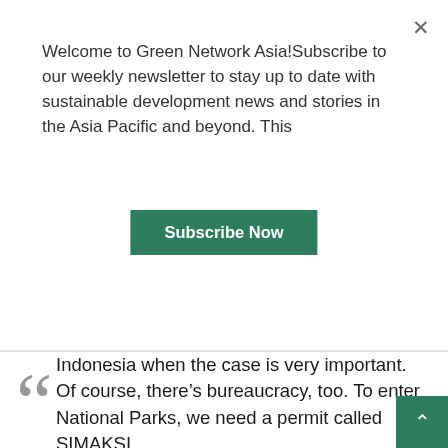Welcome to Green Network Asia!Subscribe to our weekly newsletter to stay up to date with sustainable development news and stories in the Asia Pacific and beyond. This
Subscribe Now
Indonesia when the case is very important. Of course, there’s bureaucracy, too. To enter National Parks, we need a permit called SIMAKSI.
Sometimes it’s for medical emergencies, general check-ups, translocations, or educating the locals; other times, it’s to lead an operational team for conflict management.